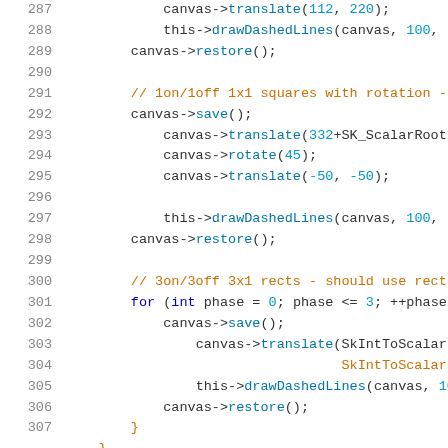Source code listing, lines 287-307, C++ graphics code using canvas drawing API with dashed lines, rotation, and translation operations.